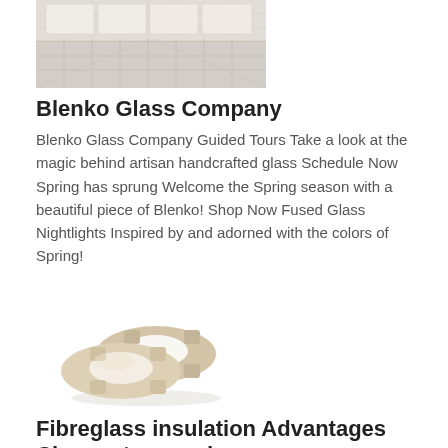[Figure (photo): Wide shot of a large indoor facility or warehouse floor with white tiles or panels arranged in grid rows.]
Blenko Glass Company
Blenko Glass Company Guided Tours Take a look at the magic behind artisan handcrafted glass Schedule Now Spring has sprung Welcome the Spring season with a beautiful piece of Blenko! Shop Now Fused Glass Nightlights Inspired by and adorned with the colors of Spring!
[Figure (photo): Two beige/cream colored ceramic or refractory block rings or kiln furniture pieces stacked together.]
Fibreglass insulation Advantages Choose type and